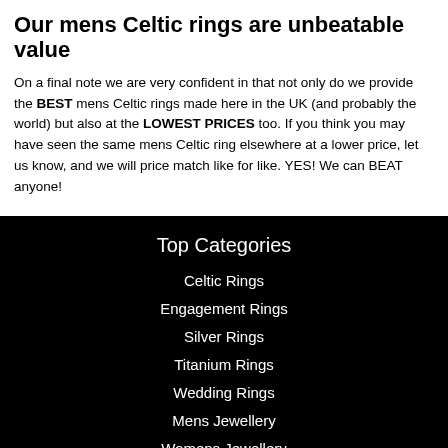Our mens Celtic rings are unbeatable value
On a final note we are very confident in that not only do we provide the BEST mens Celtic rings made here in the UK (and probably the world) but also at the LOWEST PRICES too. If you think you may have seen the same mens Celtic ring elsewhere at a lower price, let us know, and we will price match like for like. YES! We can BEAT anyone!
Top Categories
Celtic Rings
Engagement Rings
Silver Rings
Titanium Rings
Wedding Rings
Mens Jewellery
Womens Jewellery
Earrings